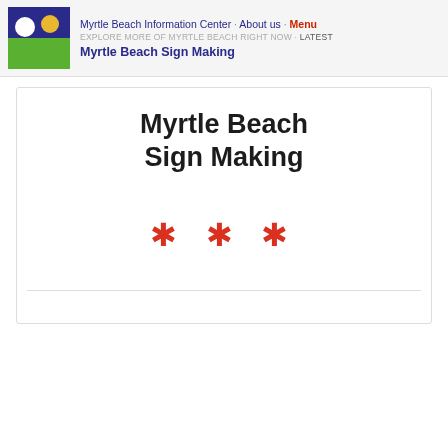Myrtle Beach Information Center · About us · Menu
EXPLORE MORE OF MYRTLE BEACH RIGHT NOW · Latest
Myrtle Beach Sign Making
Myrtle Beach Sign Making
* * *